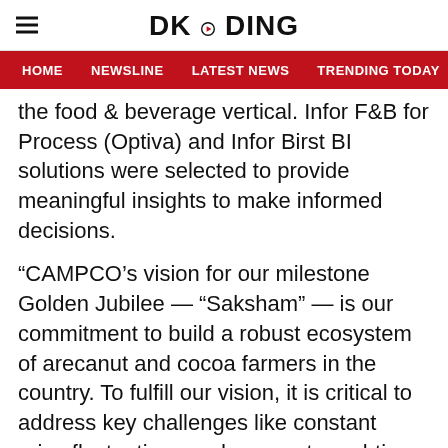DKODING
HOME | NEWSLINE | LATEST NEWS | TRENDING TODAY | ENT
the food & beverage vertical. Infor F&B for Process (Optiva) and Infor Birst BI solutions were selected to provide meaningful insights to make informed decisions.
“CAMPCO’s vision for our milestone Golden Jubilee — “Saksham” — is our commitment to build a robust ecosystem of arecanut and cocoa farmers in the country. To fulfill our vision, it is critical to address key challenges like constant price fluctuations and access to real-time market requirements that impact the supply chain and production process. Hence, we required a solid digital platform to accelerate innovation and stay competitive.”